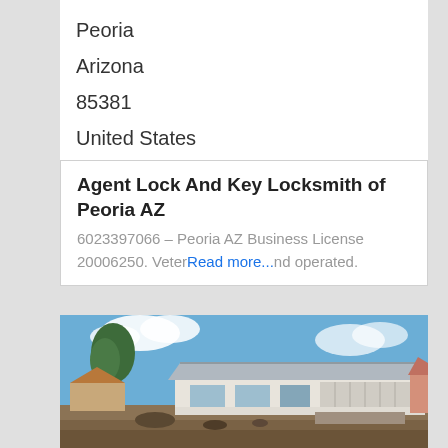Peoria
Arizona
85381
United States
Agent Lock And Key Locksmith of Peoria AZ
6023397066 – Peoria AZ Business License 20006250. Veter Read more... nd operated.
[Figure (photo): Photo of a single-story residential house in Arizona with a large garage, desert landscaping, blue sky with clouds in the background.]